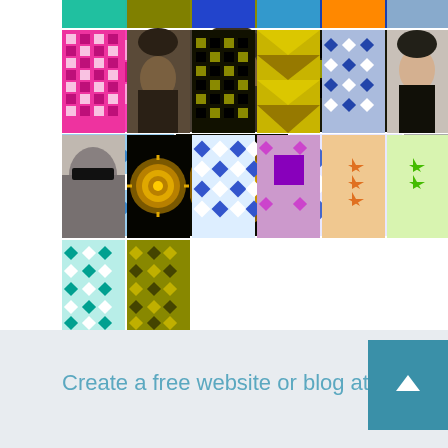[Figure (illustration): Grid of avatar/profile icons and photos arranged in 4 rows. Includes geometric patterns (pink, olive, blue, teal, green, orange), two human portrait photos, and decorative tile patterns in various colors.]
Select Language (dropdown)
Powered by Google Translate
Create a free website or blog at WordPress.com